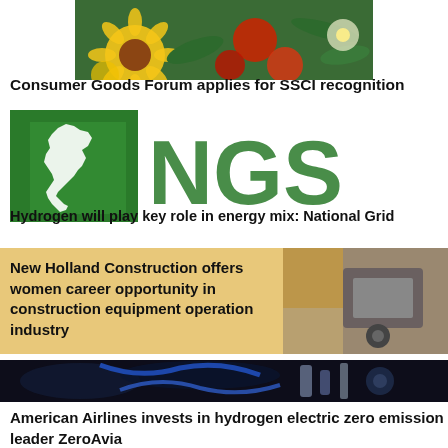[Figure (photo): Colorful flowers including sunflowers and red blooms]
Consumer Goods Forum applies for SSCI recognition
[Figure (logo): NGS National Grid logo - green square with UK map outline and large green NGS text]
Hydrogen will play key role in energy mix: National Grid
[Figure (photo): Construction equipment, golden/amber toned background with machinery on right]
New Holland Construction offers women career opportunity in construction equipment operation industry
[Figure (photo): Dark industrial/mechanical background with blue and metallic elements]
American Airlines invests in hydrogen electric zero emission leader ZeroAvia